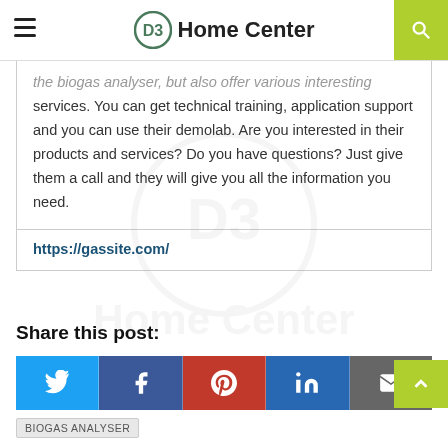D3 Home Center
the biogas analyser, but also offer various interesting services. You can get technical training, application support and you can use their demolab. Are you interested in their products and services? Do you have questions? Just give them a call and they will give you all the information you need.
https://gassite.com/
Share this post:
Twitter, Facebook, Pinterest, LinkedIn, Email share buttons
BIOGAS ANALYSER